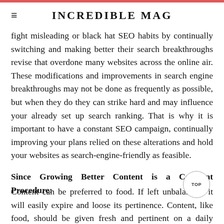INCREDIBLE MAG
fight misleading or black hat SEO habits by continually switching and making better their search breakthroughs revise that overdone many websites across the online air. These modifications and improvements in search engine breakthroughs may not be done as frequently as possible, but when they do they can strike hard and may influence your already set up search ranking. That is why it is important to have a constant SEO campaign, continually improving your plans relied on these alterations and hold your websites as search-engine-friendly as feasible.
Since Growing Better Content is a Constant Procedure:
Content can be preferred to food. If left unbalanced, it will easily expire and loose its pertinence. Content, like food, should be given fresh and pertinent on a daily basis for your chosen customers to keep returning and get second assistance. Content generation is a constant procedure that